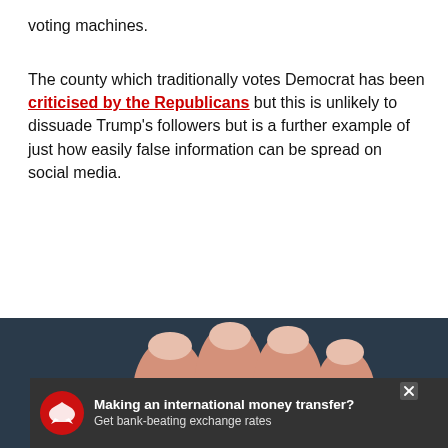voting machines.
The county which traditionally votes Democrat has been criticised by the Republicans but this is unlikely to dissuade Trump's followers but is a further example of just how easily false information can be spread on social media.
HT Daily Dot
Keep reading...
What did you think?
[Figure (photo): Close-up photo of fingers holding pink sugar candy gummy bears against a dark background]
[Figure (infographic): Advertisement banner: Making an international money transfer? Get bank-beating exchange rates, with red eagle logo and X close button]